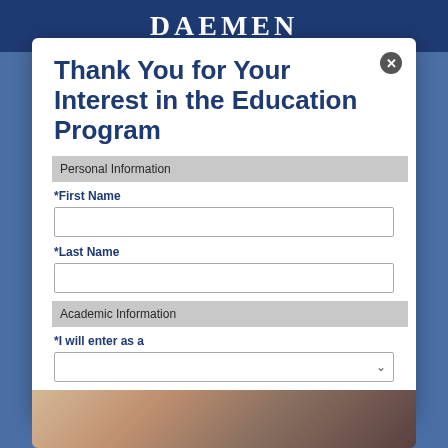DAEMEN
Thank You for Your Interest in the Education Program
Personal Information
*First Name
*Last Name
Academic Information
*I will enter as a
[Figure (photo): Photo of students at bottom of page]